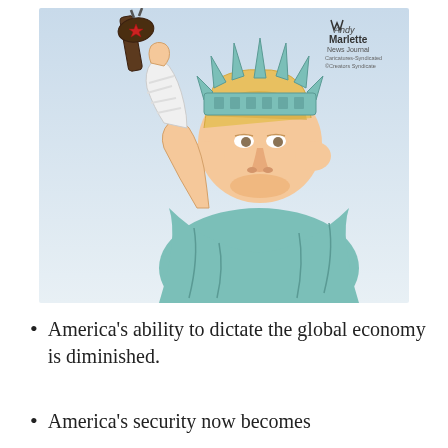[Figure (illustration): Political cartoon by Andy Marlette (News Journal) depicting a Trump-like figure dressed as the Statue of Liberty, wearing the crown and teal robes, holding up a club/torch with a red star on it instead of a flame. The character has Trump's distinctive blonde hair, facial features, and expression.]
America's ability to dictate the global economy is diminished.
America's security now becomes